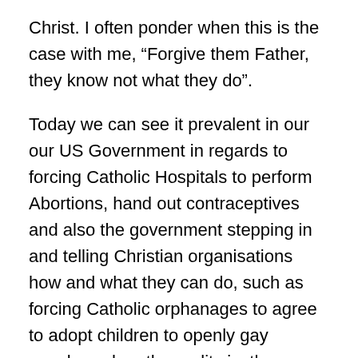Christ. I often ponder when this is the case with me, “Forgive them Father, they know not what they do”.
Today we can see it prevalent in our our US Government in regards to forcing Catholic Hospitals to perform Abortions, hand out contraceptives and also the government stepping in and telling Christian organisations how and what they can do, such as forcing Catholic orphanages to agree to adopt children to openly gay couples, when the reality is, there are many other outlets for such people to go to who do not share then beliefs as the organization they could obviously patronize.
On the other side of the spectrum, it is being put to death because of your faith. This is called “Red Martyrdom”. The spilling of your blood for the sake of our Lord.
In either case, we all must face making the choice to